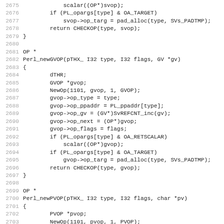Source code listing lines 2675-2706 showing C functions Perl_newGVOP and Perl_newPVOP